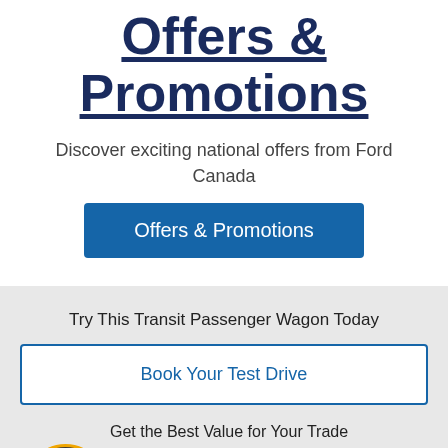Offers & Promotions
Discover exciting national offers from Ford Canada
Offers & Promotions
Try This Transit Passenger Wagon Today
Book Your Test Drive
Get the Best Value for Your Trade-In
Evaluate Your Trade-In
Privacy · Terms